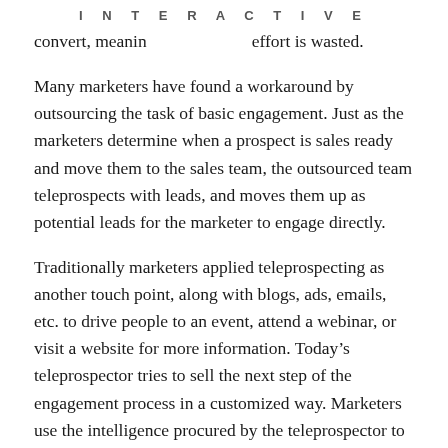INTERACTIVE
convert, meanin effort is wasted.
Many marketers have found a workaround by outsourcing the task of basic engagement. Just as the marketers determine when a prospect is sales ready and move them to the sales team, the outsourced team teleprospects with leads, and moves them up as potential leads for the marketer to engage directly.
Traditionally marketers applied teleprospecting as another touch point, along with blogs, ads, emails, etc. to drive people to an event, attend a webinar, or visit a website for more information. Today’s teleprospector tries to sell the next step of the engagement process in a customized way. Marketers use the intelligence procured by the teleprospector to further score leads on their sales readiness and make the appropriate interventions. The teleprospector engages with